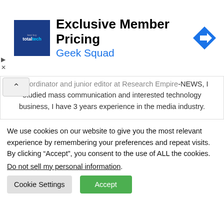[Figure (screenshot): Advertisement banner: totaltech logo, 'Exclusive Member Pricing' title, 'Geek Squad' subtitle in blue, navigation arrow icon on the right]
...coordinator and junior editor at Research Empire-NEWS, I studied mass communication and interested technology business, I have 3 years experience in the media industry.
Tags: 5g, Huawei, UK
Previous
We use cookies on our website to give you the most relevant experience by remembering your preferences and repeat visits. By clicking “Accept”, you consent to the use of ALL the cookies. Do not sell my personal information.